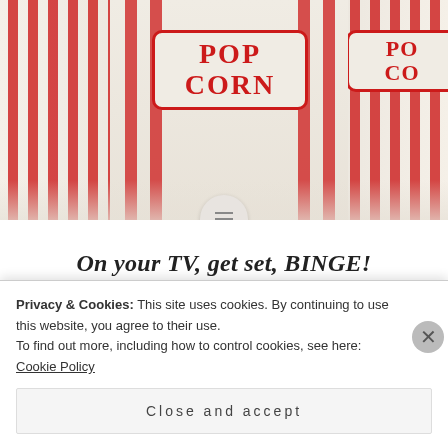[Figure (photo): Close-up photo of red and white striped popcorn cups with POP CORN text in red on the containers, scattered popcorn visible around the cups]
On your TV, get set, BINGE!
Hey friends, It's always hard trying to decide on what to watch, especially with the overwhelmingly large selection available these days. Sometimes I will end up...
Privacy & Cookies: This site uses cookies. By continuing to use this website, you agree to their use.
To find out more, including how to control cookies, see here: Cookie Policy
Close and accept